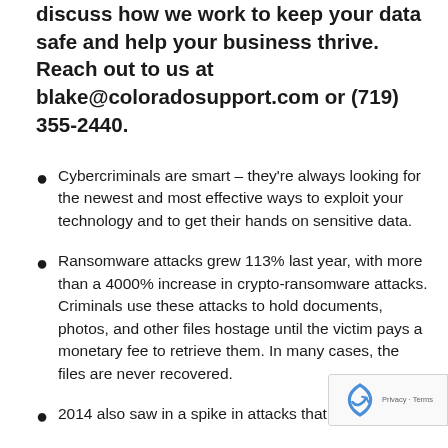discuss how we work to keep your data safe and help your business thrive. Reach out to us at blake@coloradosupport.com or (719) 355-2440.
Cybercriminals are smart – they're always looking for the newest and most effective ways to exploit your technology and to get their hands on sensitive data.
Ransomware attacks grew 113% last year, with more than a 4000% increase in crypto-ransomware attacks. Criminals use these attacks to hold documents, photos, and other files hostage until the victim pays a monetary fee to retrieve them. In many cases, the files are never recovered.
2014 also saw in a spike in attacks that trick...